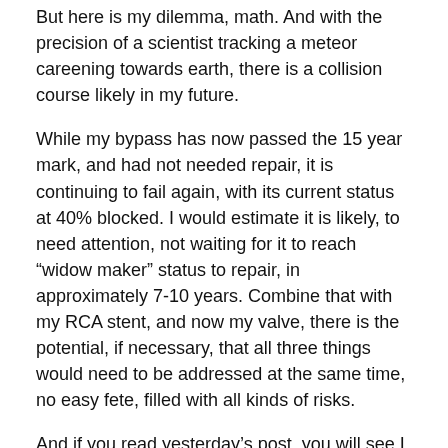But here is my dilemma, math. And with the precision of a scientist tracking a meteor careening towards earth, there is a collision course likely in my future.
While my bypass has now passed the 15 year mark, and had not needed repair, it is continuing to fail again, with its current status at 40% blocked. I would estimate it is likely, to need attention, not waiting for it to reach “widow maker” status to repair, in approximately 7-10 years. Combine that with my RCA stent, and now my valve, there is the potential, if necessary, that all three things would need to be addressed at the same time, no easy fete, filled with all kinds of risks.
And if you read yesterday’s post, you will see I have another factor creeping up on my, the curse of my paternal longevity.